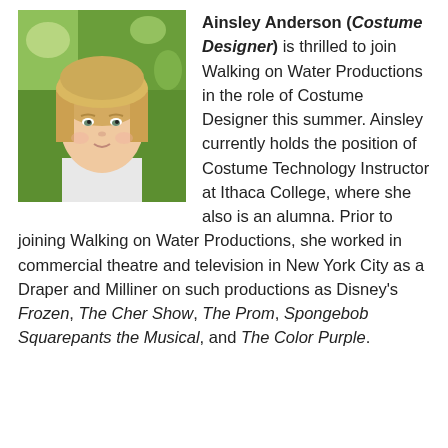[Figure (photo): Headshot photo of Ainsley Anderson, a woman with blonde hair, outdoors with green foliage background]
Ainsley Anderson (Costume Designer) is thrilled to join Walking on Water Productions in the role of Costume Designer this summer. Ainsley currently holds the position of Costume Technology Instructor at Ithaca College, where she also is an alumna. Prior to joining Walking on Water Productions, she worked in commercial theatre and television in New York City as a Draper and Milliner on such productions as Disney's Frozen, The Cher Show, The Prom, Spongebob Squarepants the Musical, and The Color Purple.